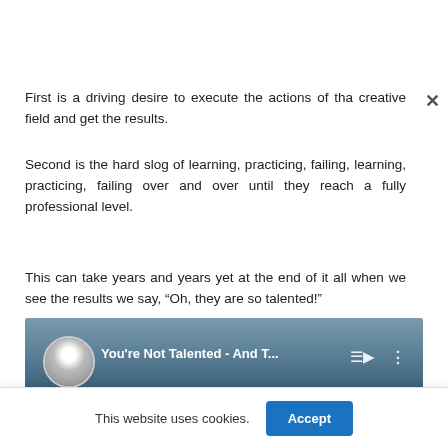First is a driving desire to execute the actions of tha creative field and get the results.
Second is the hard slog of learning, practicing, failing, learning, practicing, failing over and over until they reach a fully professional level.
This can take years and years yet at the end of it all when we see the results we say, “Oh, they are so talented!”
[Figure (screenshot): YouTube video thumbnail showing 'You're Not Talented - And T...' with playlist and more options icons, dark misty background with a person silhouette]
This website uses cookies.
Accept